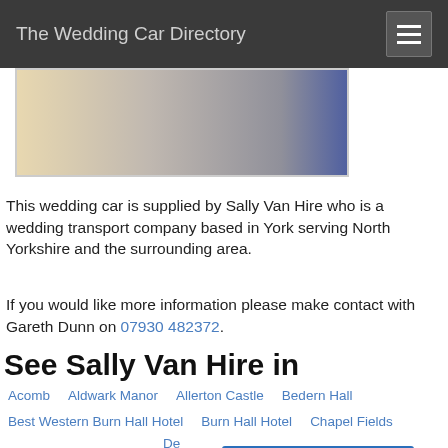The Wedding Car Directory
[Figure (photo): Photo of wedding car/people, partially visible at top of page]
This wedding car is supplied by Sally Van Hire who is a wedding transport company based in York serving North Yorkshire and the surrounding area.
If you would like more information please make contact with Gareth Dunn on 07930 482372.
See Sally Van Hire in
Acomb
Aldwark Manor
Allerton Castle
Bedern Hall
Best Western Burn Hall Hotel
Burn Hall Hotel
Chapel Fields
Clementhorpe
Clifton
De Grey Rooms
More from Sally Van Hire >>
ee by Hilton, York
Dringhouses